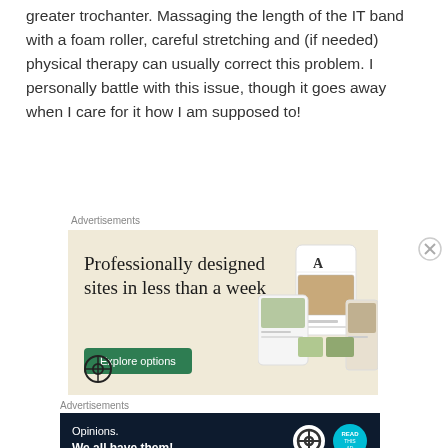greater trochanter. Massaging the length of the IT band with a foam roller, careful stretching and (if needed) physical therapy can usually correct this problem. I personally battle with this issue, though it goes away when I care for it how I am supposed to!
Advertisements
[Figure (illustration): WordPress advertisement: 'Professionally designed sites in less than a week' with green 'Explore options' button and website mockup images on beige background]
Advertisements
[Figure (illustration): WordPress advertisement banner on dark navy background: 'Opinions. We all have them!' with WordPress logo and circular badge icon]